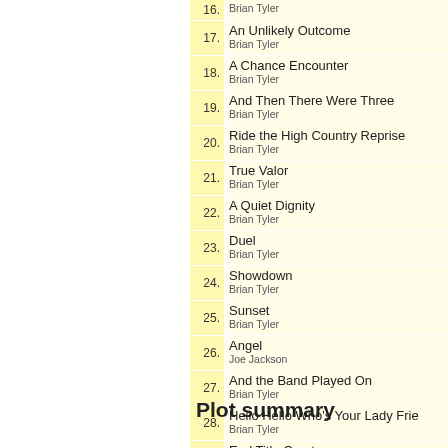16. Brian Tyler
17. An Unlikely Outcome — Brian Tyler
18. A Chance Encounter — Brian Tyler
19. And Then There Were Three — Brian Tyler
20. Ride the High Country Reprise — Brian Tyler
21. True Valor — Brian Tyler
22. A Quiet Dignity — Brian Tyler
23. Duel — Brian Tyler
24. Showdown — Brian Tyler
25. Sunset — Brian Tyler
26. Angel — Joe Jackson
27. And the Band Played On — Brian Tyler
28. Hello Hello Who's Your Lady Frie... — Brian Tyler
29. End Title Overture — Brian Tyler
Plot summary